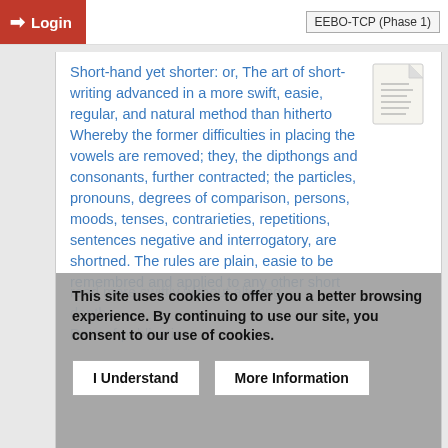Login   EEBO-TCP (Phase 1)
Short-hand yet shorter: or, The art of short-writing advanced in a more swift, easie, regular, and natural method than hitherto Whereby the former difficulties in placing the vowels are removed; they, the dipthongs and consonants, further contracted; the particles, pronouns, degrees of comparison, persons, moods, tenses, contrarieties, repetitions, sentences negative and interrogatory, are shortned. The rules are plain, easie to be remembred and applied to any other short
This site uses cookies to offer you a better browsing experience. By continuing to use our site, you consent to our use of cookies.
read more swiftly without altering depth.
Date of publication: